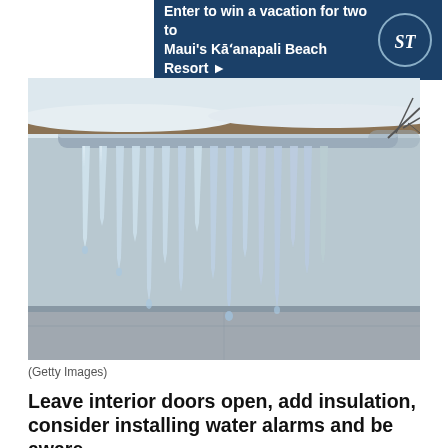[Figure (other): Advertisement banner with dark teal/navy background. Text reads 'Enter to win a vacation for two to Maui's Kā'anapali Beach Resort ▶' with Seattle Times logo (ST) in a circular emblem on the right.]
[Figure (photo): Photograph of icicles hanging from a snow-covered building gutter/pipe. The icicles are long and transparent, with a snowy roof and grey sky visible in the background. Tree branches appear on the right edge.]
(Getty Images)
Leave interior doors open, add insulation, consider installing water alarms and be aware.
By Daniel Bortz
The Washington Post
As the winter chill sets in, it's time to think about